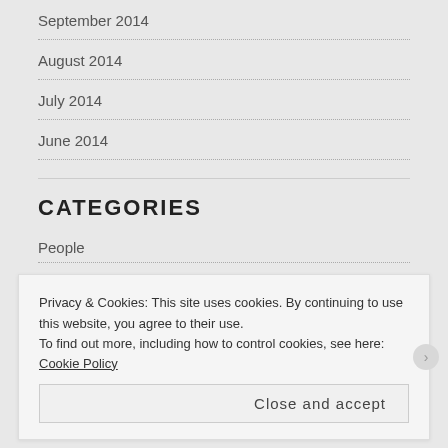September 2014
August 2014
July 2014
June 2014
CATEGORIES
People
Places
Uncategorized
Privacy & Cookies: This site uses cookies. By continuing to use this website, you agree to their use.
To find out more, including how to control cookies, see here: Cookie Policy
Close and accept